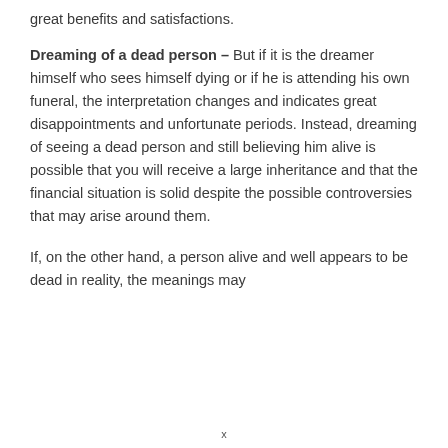great benefits and satisfactions.
Dreaming of a dead person – But if it is the dreamer himself who sees himself dying or if he is attending his own funeral, the interpretation changes and indicates great disappointments and unfortunate periods. Instead, dreaming of seeing a dead person and still believing him alive is possible that you will receive a large inheritance and that the financial situation is solid despite the possible controversies that may arise around them.
If, on the other hand, a person alive and well appears to be dead in reality, the meanings may
x